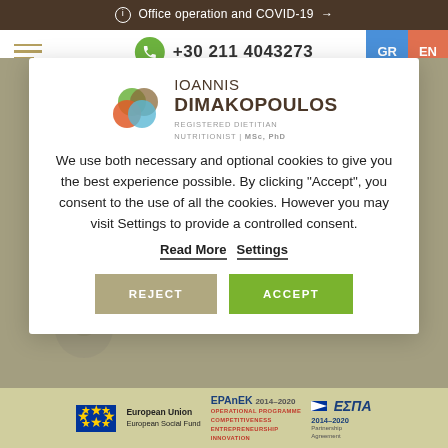ⓘ Office operation and COVID-19 →
+30 211 4043273   GR  EN
[Figure (screenshot): Cookie consent modal with IOANNIS DIMAKOPOULOS logo, cookie notice text, Read More and Settings links, REJECT and ACCEPT buttons]
We use both necessary and optional cookies to give you the best experience possible. By clicking "Accept", you consent to the use of all the cookies. However you may visit Settings to provide a controlled consent.
Read More   Settings
REJECT   ACCEPT
European Union European Social Fund | EPAnEK 2014-2020 OPERATIONAL PROGRAMME COMPETITIVENESS ENTREPRENEURSHIP INNOVATION | ΕΣΠΑ 2014-2020 Partnership Agreement